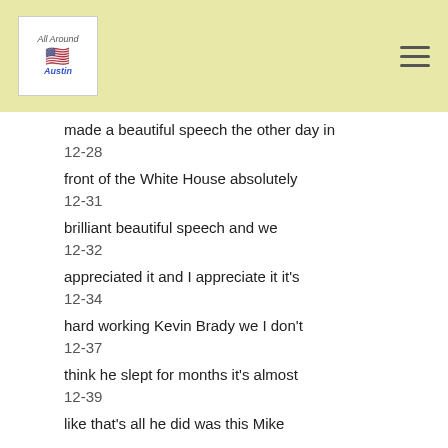[Logo: All Around Austin] [hamburger menu icon]
made a beautiful speech the other day in
12-28
front of the White House absolutely
12-31
brilliant beautiful speech and we
12-32
appreciated it and I appreciate it it's
12-34
hard working Kevin Brady we I don't
12-37
think he slept for months it's almost
12-39
like that's all he did was this Mike